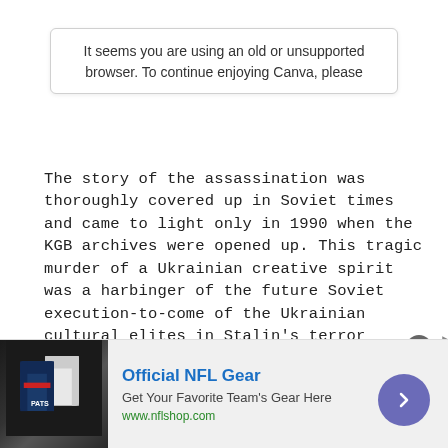It seems you are using an old or unsupported browser. To continue enjoying Canva, please
The story of the assassination was thoroughly covered up in Soviet times and came to light only in 1990 when the KGB archives were opened up. This tragic murder of a Ukrainian creative spirit was a harbinger of the future Soviet execution-to-come of the Ukrainian cultural elites in Stalin’s terror campaign of the 1930’s. No one would be spared, the national cultural leaders would either be killed or terrorized into praising the communist leaders. Ukraine would once again be bereft of its identity and voice.
The road to world fame
[Figure (screenshot): Advertisement banner for Official NFL Gear with team jerseys image, text 'Official NFL Gear', 'Get Your Favorite Team’s Gear Here', 'www.nflshop.com', close button, navigation arrow]